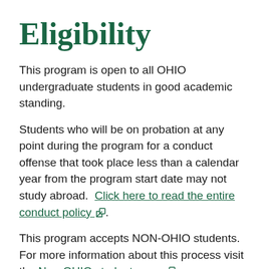Eligibility
This program is open to all OHIO undergraduate students in good academic standing.
Students who will be on probation at any point during the program for a conduct offense that took place less than a calendar year from the program start date may not study abroad.  Click here to read the entire conduct policy [external link].
This program accepts NON-OHIO students. For more information about this process visit the Non-OHIO student page [external link].
Participants must have a at least a high school diploma or the equivalent (e.g. GED) by the start